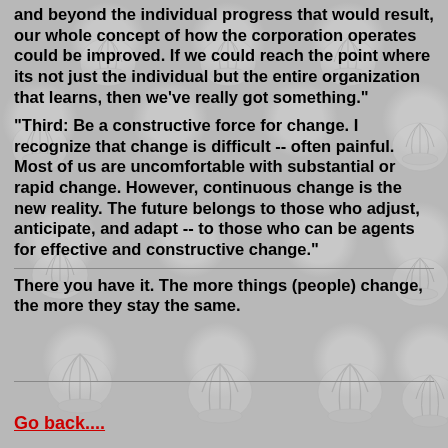and beyond the individual progress that would result, our whole concept of how the corporation operates could be improved. If we could reach the point where its not just the individual but the entire organization that learns, then we've really got something."
"Third: Be a constructive force for change. I recognize that change is difficult -- often painful. Most of us are uncomfortable with substantial or rapid change. However, continuous change is the new reality. The future belongs to those who adjust, anticipate, and adapt -- to those who can be agents for effective and constructive change."
There you have it. The more things (people) change, the more they stay the same.
Go back....